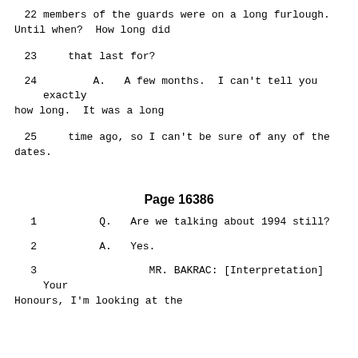22   members of the guards were on a long furlough. Until when?  How long did
23      that last for?
24         A.   A few months.  I can't tell you exactly how long.  It was a long
25      time ago, so I can't be sure of any of the dates.
Page 16386
1            Q.   Are we talking about 1994 still?
2            A.   Yes.
3                 MR. BAKRAC: [Interpretation] Your Honours, I'm looking at the